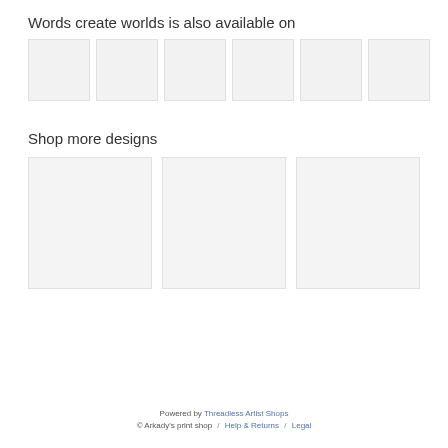Words create worlds is also available on
[Figure (photo): Row of 6 small product thumbnail placeholder images with light grey background]
Shop more designs
[Figure (photo): Row of 3 larger product design placeholder images with light grey background]
Powered by Threadless Artist Shops
© Arkady's print shop  /  Help & Returns  /  Legal